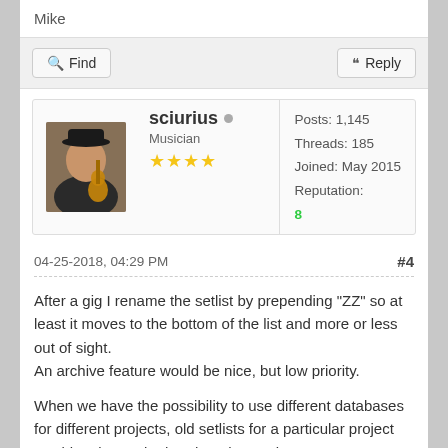Mike
Find   Reply
sciurius  Musician  ★★★★  Posts: 1,145  Threads: 185  Joined: May 2015  Reputation: 8
04-25-2018, 04:29 PM  #4
After a gig I rename the setlist by prepending "ZZ" so at least it moves to the bottom of the list and more or less out of sight.
An archive feature would be nice, but low priority.

When we have the possibility to use different databases for different projects, old setlists for a particular project would no longer bother the other projects.
Johan